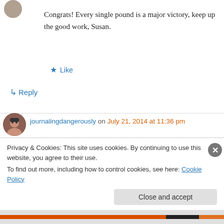[Figure (photo): Small circular avatar photo at top left, partially visible]
Congrats! Every single pound is a major victory, keep up the good work, Susan.
★ Like
↪ Reply
journalingdangerously on July 21, 2014 at 11:36 pm
[Figure (photo): Circular avatar photo of a person with glasses]
Well done on the weight loss! (I think gaining a bit of weight on vacation is more than ok!) I didn't really set resolutions as such, but my life
Privacy & Cookies: This site uses cookies. By continuing to use this website, you agree to their use.
To find out more, including how to control cookies, see here: Cookie Policy
Close and accept